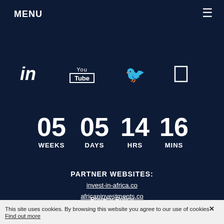MENU
[Figure (infographic): Social media icons: LinkedIn, YouTube, Twitter, and a rectangle/app icon on dark navy background]
05 WEEKS  05 DAYS  14 HRS  16 MINS
PARTNER WEBSITES: invest-in-africa.co africaninvestments.co
Privacy Policy
Disclaimer
This site uses cookies. By browsing this website you agree to our use of cookies.
Find out more